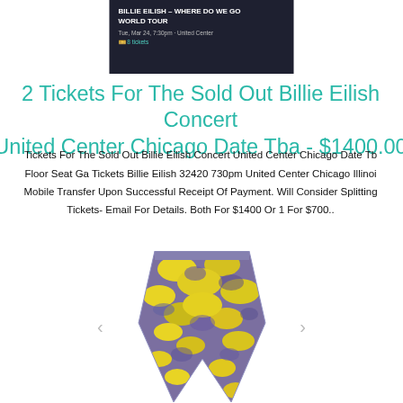[Figure (screenshot): Screenshot of a ticket listing: BILLIE EILISH - WHERE DO WE GO WORLD TOUR, Tue, Mar 24, 7:30pm · United Center, 8 tickets]
2 Tickets For The Sold Out Billie Eilish Concert United Center Chicago Date Tba - $1400.00
Tickets For The Sold Out Billie Eilish Concert United Center Chicago Date Tb
Floor Seat Ga Tickets Billie Eilish 32420 730pm United Center Chicago Illinoi Mobile Transfer Upon Successful Receipt Of Payment. Will Consider Splitting Tickets- Email For Details. Both For $1400 Or 1 For $700..
[Figure (photo): Product photo of colorful patterned shorts/pants with yellow and purple design, shown with carousel navigation arrows on left and right]